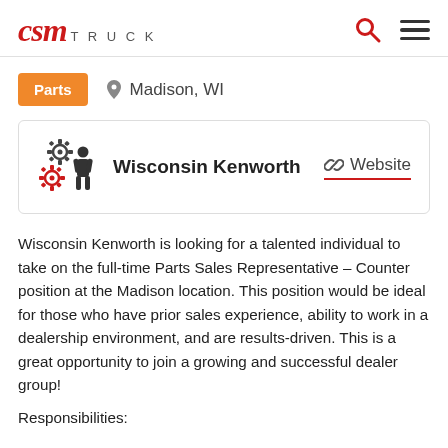CSM TRUCK
Parts   Madison, WI
Wisconsin Kenworth   Website
Wisconsin Kenworth is looking for a talented individual to take on the full-time Parts Sales Representative – Counter position at the Madison location. This position would be ideal for those who have prior sales experience, ability to work in a dealership environment, and are results-driven. This is a great opportunity to join a growing and successful dealer group!
Responsibilities: